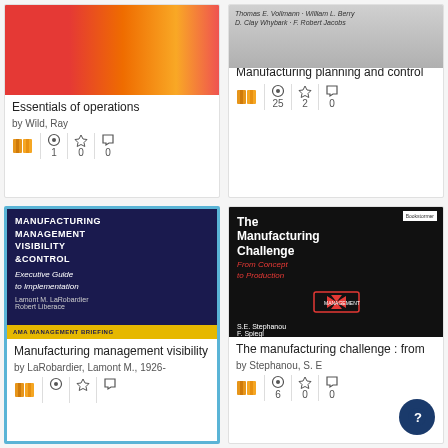[Figure (photo): Book cover: Essentials of operations by Wild, Ray - colorful red/orange gradient]
Essentials of operations
by Wild, Ray
[Figure (photo): Book cover: Manufacturing planning and control - grey textbook cover]
Manufacturing planning and control
[Figure (photo): Book cover: Manufacturing management visibility control - dark blue book]
Manufacturing management visibility
by LaRobardier, Lamont M., 1926-
[Figure (photo): Book cover: The Manufacturing Challenge from Concept to Production by S.E. Stephanou, F. Spiegl - black cover]
The manufacturing challenge : from
by Stephanou, S. E